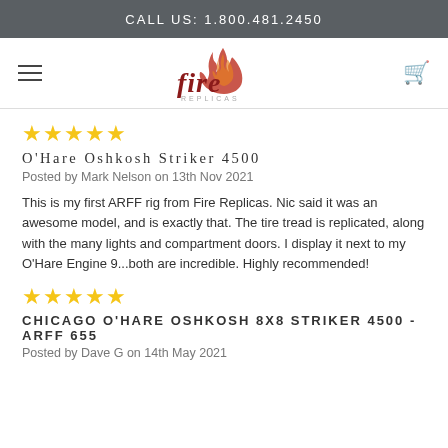CALL US: 1.800.481.2450
[Figure (logo): Fire Replicas logo — stylized flame above the word 'fire' in red and dark red, with 'REPLICAS' in small caps below]
★★★★★
O'Hare Oshkosh Striker 4500
Posted by Mark Nelson on 13th Nov 2021
This is my first ARFF rig from Fire Replicas. Nic said it was an awesome model, and is exactly that. The tire tread is replicated, along with the many lights and compartment doors. I display it next to my O'Hare Engine 9...both are incredible. Highly recommended!
★★★★★
CHICAGO O'HARE OSHKOSH 8X8 STRIKER 4500 - ARFF 655
Posted by Dave G on 14th May 2021